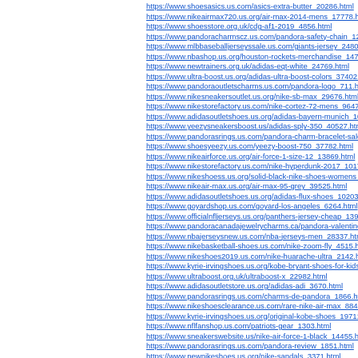https://www.shoesasics.us.com/asics-extra-butter_20286.html
https://www.nikeairmax720.us.org/air-max-2014-mens_17778.html
https://www.shoesstore.org.uk/cdg-af1-2019_4856.html
https://www.pandoracharmscz.us.com/pandora-safety-chain_1223...
https://www.mlbbaseballjerseyssale.us.com/giants-jersey_24802.html
https://www.nbashop.us.org/houston-rockets-merchandise_14737...
https://www.newtrainers.org.uk/adidas-eqt-white_24769.html
https://www.ultra-boost.us.org/adidas-ultra-boost-colors_37402.html
https://www.pandoraoutletscharms.us.com/pandora-logo_711.html
https://www.nikesneakersoutlet.us.org/nike-sb-max_29676.html
https://www.nikestorefactory.us.com/nike-cortez-72-mens_9647.html
https://www.adidasoutletshoes.us.org/adidas-bayern-munich_1045...
https://www.yeezysneakersboost.us/adidas-sply-350_40527.html
https://www.pandorasrings.us.com/pandora-charm-bracelet-sale_1...
https://www.shoesyeezy.us.com/yeezy-boost-750_37782.html
https://www.nikeairforce.us.org/air-force-1-size-12_13869.html
https://www.nikestorefactory.us.com/nike-hyperdunk-2017_10178...
https://www.nikeshoess.us.org/solid-black-nike-shoes-womens_85...
https://www.nikeair-max.us.org/air-max-95-grey_39525.html
https://www.adidasoutletshoes.us.org/adidas-flux-shoes_10203.html
https://www.goyardshop.us.com/goyard-los-angeles_6264.html
https://www.officialnfljerseys.us.org/panthers-jersey-cheap_13977...
https://www.pandoracanadajewelrycharms.ca/pandora-valentines-...
https://www.nbajerseysnew.us.com/nba-jerseys-men_28337.html
https://www.nikebasketball-shoes.us.com/nike-zoom-fly_4515.html
https://www.nikeshoes2019.us.com/nike-huarache-ultra_2142.html
https://www.kyrie-irvingshoes.us.org/kobe-bryant-shoes-for-kids...
https://www.ultraboost.org.uk/ultraboost-x_22982.html
https://www.adidasoutletstore.us.org/adidas-adi_3670.html
https://www.pandorasrings.us.com/charms-de-pandora_1866.html
https://www.nikeshoesclearance.us.com/rare-nike-air-max_8843.html
https://www.kyrie-irvingshoes.us.org/original-kobe-shoes_19711.html
https://www.nflfanshop.us.com/patriots-gear_1303.html
https://www.sneakerswebsite.us/nike-air-force-1-black_14455.html
https://www.pandorasrings.us.com/pandora-review_1851.html
https://www.newnikeshoes.us.org/nike-sandals_3371.html
https://www.nikesneakersoutlet.us.org/kohls-nike-tennis-shoes_30...